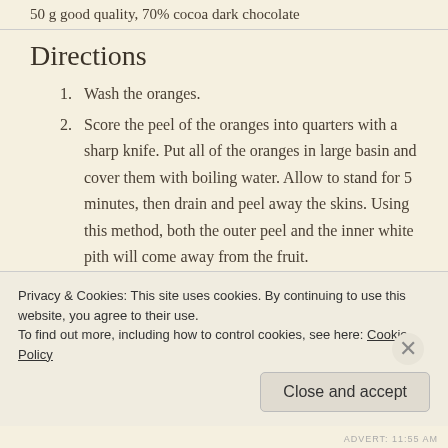50 g good quality, 70% cocoa dark chocolate
Directions
1. Wash the oranges.
2. Score the peel of the oranges into quarters with a sharp knife. Put all of the oranges in large basin and cover them with boiling water. Allow to stand for 5 minutes, then drain and peel away the skins. Using this method, both the outer peel and the inner white pith will come away from the fruit.
Privacy & Cookies: This site uses cookies. By continuing to use this website, you agree to their use.
To find out more, including how to control cookies, see here: Cookie Policy
Close and accept